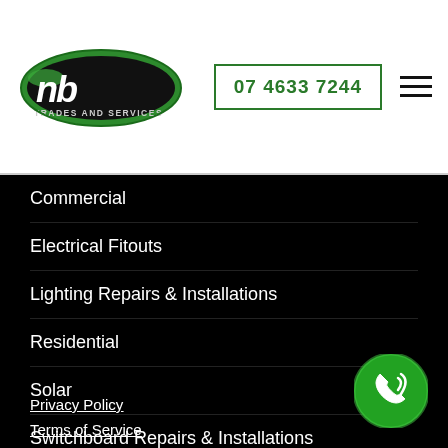[Figure (logo): NB Trades and Services logo — green oval with NB text in bold black italic, 'TRADES AND SERVICES' below]
07 4633 7244
[Figure (other): Hamburger menu icon — three horizontal lines]
Commercial
Electrical Fitouts
Lighting Repairs & Installations
Residential
Solar
Switchboard Repairs & Installations
Test and Tag
Privacy Policy
Terms of Service
[Figure (other): Green circular call/phone button with white phone and signal waves icon]